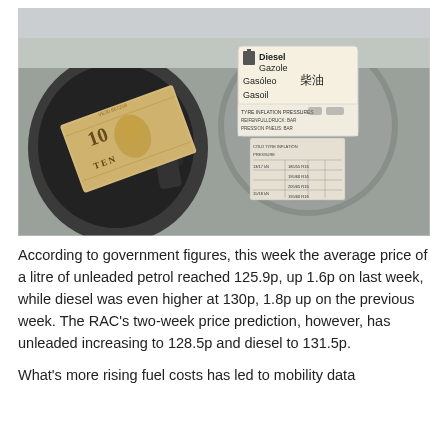[Figure (photo): Photo of a car fuel filler cap open with a British £10 note inserted, and a multilingual diesel fuel cap label reading 'Diesel Gazole Gasóleo 柴油 Gasoil' along with a tire pressure chart sticker on the fuel cap.]
According to government figures, this week the average price of a litre of unleaded petrol reached 125.9p, up 1.6p on last week, while diesel was even higher at 130p, 1.8p up on the previous week. The RAC's two-week price prediction, however, has unleaded increasing to 128.5p and diesel to 131.5p.
What's more rising fuel costs has led to mobility data